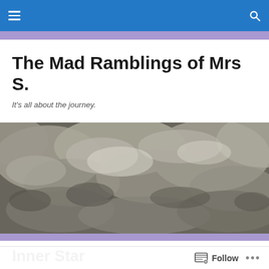Navigation bar with hamburger menu and search icon
The Mad Ramblings of Mrs S.
It's all about the journey.
[Figure (photo): Black and white photograph of dramatic cloudy sky with textured cloud formations]
Inner Star
Follow  ...